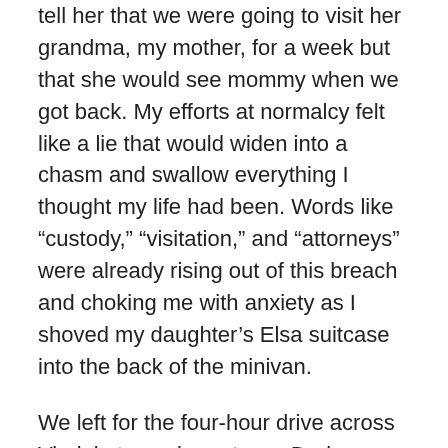tell her that we were going to visit her grandma, my mother, for a week but that she would see mommy when we got back. My efforts at normalcy felt like a lie that would widen into a chasm and swallow everything I thought my life had been. Words like “custody,” “visitation,” and “attorneys” were already rising out of this breach and choking me with anxiety as I shoved my daughter’s Elsa suitcase into the back of the minivan.
We left for the four-hour drive across Virginia to my hometown. During a stop at Bojangles’, I texted my brother that it seemed like I should be taking notes on this day for posterity. If one is lucky enough to live the fairly insulated middle-class life that I do, there are only a handful of such ruptures in a lifetime. So, I remember the man in the blue shirt in the restaurant who handed me a straw when he saw me standing behind him, and the